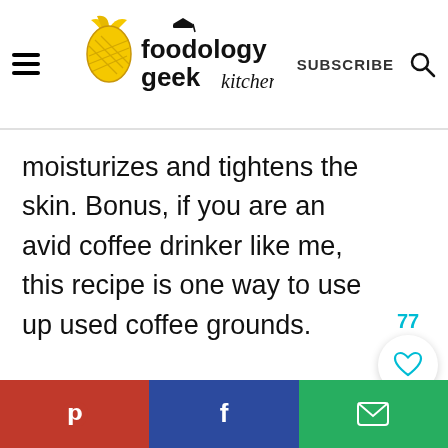foodology geek kitchen | SUBSCRIBE
moisturizes and tightens the skin. Bonus, if you are an avid coffee drinker like me, this recipe is one way to use up used coffee grounds.
[Figure (infographic): Like/heart button showing 77 likes, and a teal search button]
Pinterest share | Facebook share | Email share